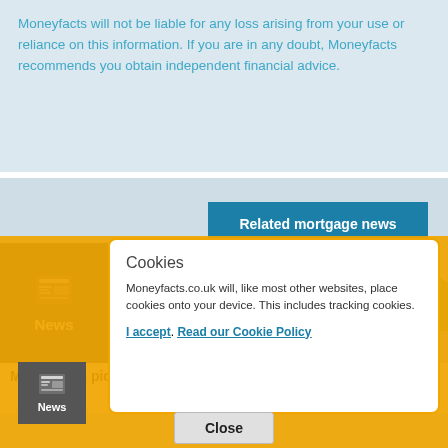Moneyfacts will not be liable for any loss arising from your use or reliance on this information. If you are in any doubt, Moneyfacts recommends you obtain independent financial advice.
Related mortgage news
[Figure (photo): News article thumbnail showing miniature toy houses (wooden and green) on a blurred background, with a dark News icon box on the left]
Moneyfacts pick o...
Moneyfacts.co.uk will ne... financial product. Any calls... sent by Moneyfacts.co.uk... news.c...
Cookies
Moneyfacts.co.uk will, like most other websites, place cookies onto your device. This includes tracking cookies.
I accept. Read our Cookie Policy